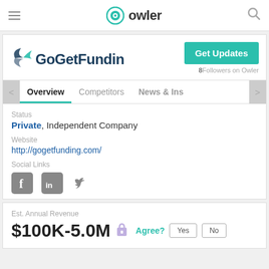owler
[Figure (logo): GoGetFunding company logo with wing icon and teal text]
Get Updates
8 Followers on Owler
Overview  Competitors  News & Ins
Status
Private, Independent Company
Website
http://gogetfunding.com/
Social Links
[Figure (logo): Facebook, LinkedIn, and Twitter social media icons]
Est. Annual Revenue
$100K-5.0M  Agree?  Yes  No